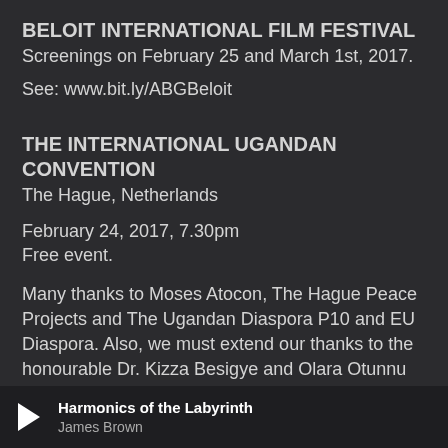BELOIT INTERNATIONAL FILM FESTIVAL
Screenings on February 25 and March 1st, 2017.
See: www.bit.ly/ABGBeloit
THE INTERNATIONAL UGANDAN CONVENTION
The Hague, Netherlands
February 24, 2017, 7.30pm
Free event.
Many thanks to Moses Atocon, The Hague Peace Projects and The Ugandan Diaspora P10 and EU Diaspora. Also, we must extend our thanks to the honourable Dr. Kizza Besigye and Olara Otunnu for
Harmonics of the Labyrinth — James Brown